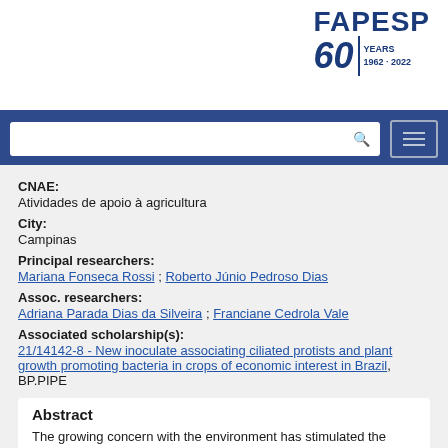[Figure (logo): FAPESP 60 Years 1962-2022 logo]
CNAE:
Atividades de apoio à agricultura
City:
Campinas
Principal researchers:
Mariana Fonseca Rossi ; Roberto Júnio Pedroso Dias
Assoc. researchers:
Adriana Parada Dias da Silveira ; Franciane Cedrola Vale
Associated scholarship(s):
21/14142-8 - New inoculate associating ciliated protists and plant growth promoting bacteria in crops of economic interest in Brazil, BP.PIPE
Abstract
The growing concern with the environment has stimulated the companies of agricultural inputs to develop products with biological